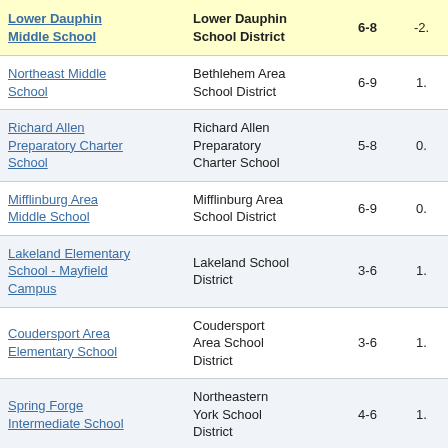| School | District | Grades | Score |
| --- | --- | --- | --- |
| Lower Dauphin Middle School | Lower Dauphin School District | 6-8 | -2. |
| Northeast Middle School | Bethlehem Area School District | 6-9 | 1. |
| Richard Allen Preparatory Charter School | Richard Allen Preparatory Charter School | 5-8 | 0. |
| Mifflinburg Area Middle School | Mifflinburg Area School District | 6-9 | 0. |
| Lakeland Elementary School - Mayfield Campus | Lakeland School District | 3-6 | 1. |
| Coudersport Area Elementary School | Coudersport Area School District | 3-6 | 1. |
| Spring Forge Intermediate School | Northeastern York School District | 4-6 | 1. |